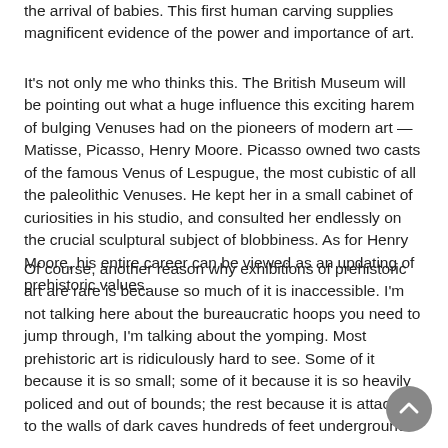the arrival of babies. This first human carving supplies magnificent evidence of the power and importance of art.
It's not only me who thinks this. The British Museum will be pointing out what a huge influence this exciting harem of bulging Venuses had on the pioneers of modern art — Matisse, Picasso, Henry Moore. Picasso owned two casts of the famous Venus of Lespugue, the most cubistic of all the paleolithic Venuses. He kept her in a small cabinet of curiosities in his studio, and consulted her endlessly on the crucial sculptural subject of blobbiness. As for Henry Moore, his entire career can be viewed as an updating of prehistoric values.
Of course, another reason why exhibitions of prehistoric art are rare is because so much of it is inaccessible. I'm not talking here about the bureaucratic hoops you need to jump through, I'm talking about the yomping. Most prehistoric art is ridiculously hard to see. Some of it because it is so small; some of it because it is so heavily policed and out of bounds; the rest because it is attached to the walls of dark caves hundreds of feet underground.